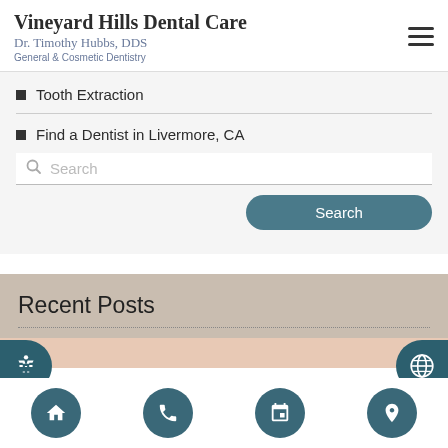Vineyard Hills Dental Care
Dr. Timothy Hubbs, DDS
General & Cosmetic Dentistry
Tooth Extraction
Find a Dentist in Livermore, CA
Search
Recent Posts